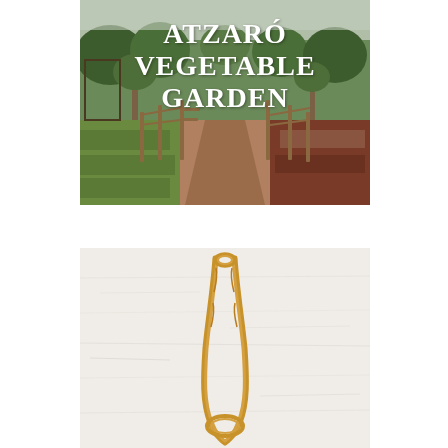[Figure (photo): A vegetable garden path with wooden fencing on both sides, olive trees visible, red soil, green plants, in natural daylight]
ATZARÓ VEGETABLE GARDEN
[Figure (photo): Close-up of a rope or twine loop hanging against a white textured wall background]